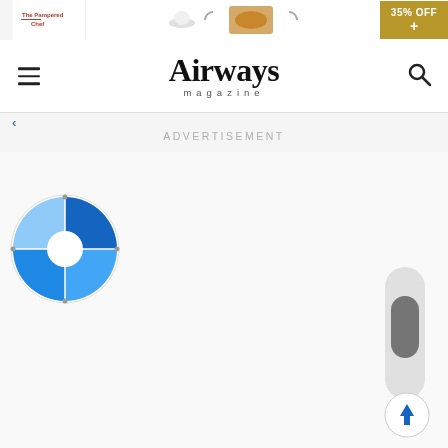[Figure (screenshot): Advertisement banner at top with The Pampered Chef logo, food image, and 35% OFF offer button]
Airways magazine
ADVERTISEMENT
[Figure (other): Blue donut/pie chart spinner loading indicator with white center circle]
[Figure (other): Scroll bar UI element - grey track with dark thumb]
[Figure (other): Back to top button - circular with blue upward arrow]